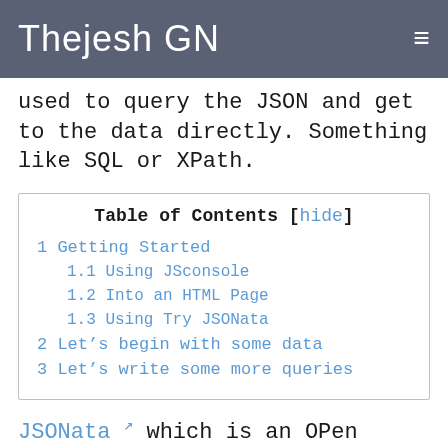Thejesh GN ≡
used to query the JSON and get to the data directly. Something like SQL or XPath.
| Table of Contents [hide] |
| --- |
| 1 Getting Started |
| 1.1 Using JSconsole |
| 1.2 Into an HTML Page |
| 1.3 Using Try JSONata |
| 2 Let's begin with some data |
| 3 Let's write some more queries |
JSONata ↗ which is an OPen Source project by IBM does exactly that. It's